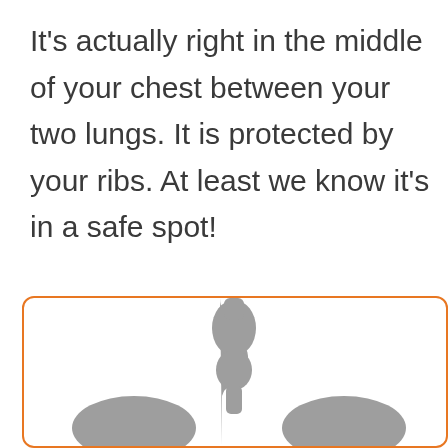It's actually right in the middle of your chest between your two lungs. It is protected by your ribs. At least we know it's in a safe spot!
[Figure (illustration): Illustration of a heart anatomy diagram inside an orange-bordered rounded rectangle box, showing gray silhouetted heart and lung structures]